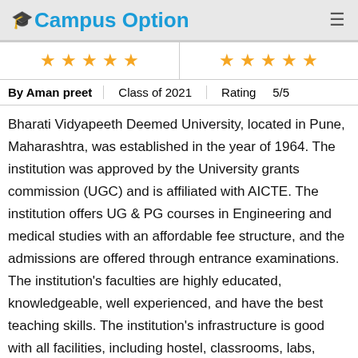Campus Option
[Figure (other): Two groups of five gold stars ratings side by side]
| By Aman preet | Class of 2021 | Rating | 5/5 |
| --- | --- | --- | --- |
Bharati Vidyapeeth Deemed University, located in Pune, Maharashtra, was established in the year of 1964. The institution was approved by the University grants commission (UGC) and is affiliated with AICTE. The institution offers UG & PG courses in Engineering and medical studies with an affordable fee structure, and the admissions are offered through entrance examinations. The institution's faculties are highly educated, knowledgeable, well experienced, and have the best teaching skills. The institution's infrastructure is good with all facilities, including hostel, classrooms, labs, library, cafeteria, and medical facilities. Placement facilities are the